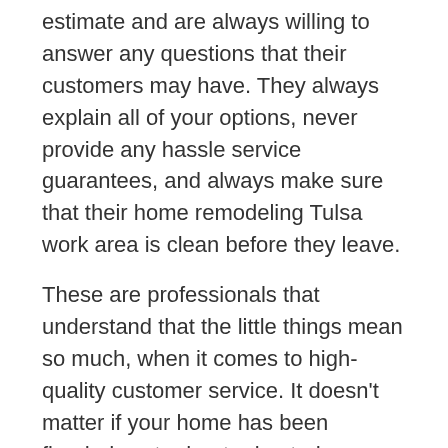estimate and are always willing to answer any questions that their customers may have. They always explain all of your options, never provide any hassle service guarantees, and always make sure that their home remodeling Tulsa work area is clean before they leave.
These are professionals that understand that the little things mean so much, when it comes to high-quality customer service. It doesn't matter if your home has been flooded, water heater busted, or you've had a septic overflow, the great professionals at DunRite Plumbing will be available to help you solve your problems and situations right away. These professionals work with the most customer service and professionalism when delivering the very best of plumbing services for replacement, installation, and repairs of dishwashers, pipework, disposers, showers, drains and sewers, water lines, septic tanks, toilets, faucets, and so much more. They also deliver other services outside of renovation and plumbing that